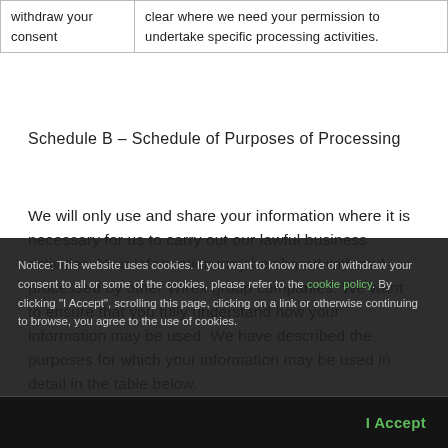| withdraw your consent | clear where we need your permission to undertake specific processing activities. |
Schedule B – Schedule of Purposes of Processing
We will only use and share your information where it is necessary for us to carry out our lawful business activities. Your information may be shared with and processed by other Wirex group companies. We want to ensure that you fully understand how your information may be used. We have described the purposes for which your information may be used in detail in the table below.
Notice: This website uses cookies. If you want to know more or withdraw your consent to all or some of the cookies, please refer to the cookie policy. By clicking "I Accept", scrolling this page, clicking on a link or otherwise continuing to browse, you agree to the use of cookies.
I Accept